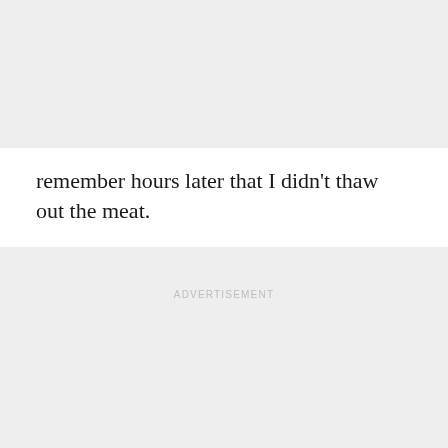remember hours later that I didn't thaw out the meat.
ADVERTISEMENT